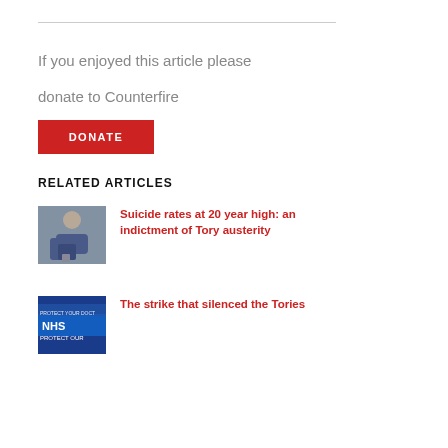If you enjoyed this article please
donate to Counterfire
DONATE
RELATED ARTICLES
[Figure (photo): Person sitting against wall, wearing blue jeans]
Suicide rates at 20 year high: an indictment of Tory austerity
[Figure (photo): NHS protest sign, Protect Your Doctors / Protect Our NHS banner]
The strike that silenced the Tories